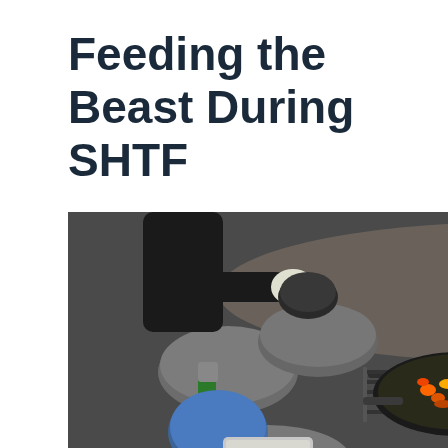Feeding the Beast During SHTF
[Figure (photo): Overhead view of a campfire cooking setup surrounded by large rocks. A person in black clothing is tending to a cast iron pan with colorful vegetables and meat on a grill grate over an open fire. Camping supplies visible on the left side. Green grass and a log visible in the background.]